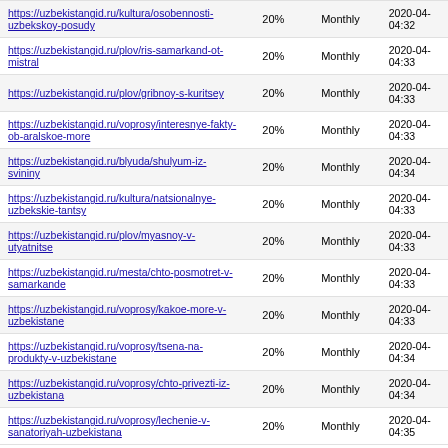| URL | Priority | Change Frequency | Last Modified |
| --- | --- | --- | --- |
| https://uzbekistangid.ru/kultura/osobennosti-uzbekskoy-posudy | 20% | Monthly | 2020-04-04:32 |
| https://uzbekistangid.ru/plov/ris-samarkand-ot-mistral | 20% | Monthly | 2020-04-04:33 |
| https://uzbekistangid.ru/plov/gribnoy-s-kuritsey | 20% | Monthly | 2020-04-04:33 |
| https://uzbekistangid.ru/voprosy/interesnye-fakty-ob-aralskoe-more | 20% | Monthly | 2020-04-04:33 |
| https://uzbekistangid.ru/blyuda/shulyum-iz-svininy | 20% | Monthly | 2020-04-04:34 |
| https://uzbekistangid.ru/kultura/natsionalnye-uzbekskie-tantsy | 20% | Monthly | 2020-04-04:33 |
| https://uzbekistangid.ru/plov/myasnoy-v-utyatnitse | 20% | Monthly | 2020-04-04:33 |
| https://uzbekistangid.ru/mesta/chto-posmotret-v-samarkande | 20% | Monthly | 2020-04-04:33 |
| https://uzbekistangid.ru/voprosy/kakoe-more-v-uzbekistane | 20% | Monthly | 2020-04-04:33 |
| https://uzbekistangid.ru/voprosy/tsena-na-produkty-v-uzbekistane | 20% | Monthly | 2020-04-04:34 |
| https://uzbekistangid.ru/voprosy/chto-privezti-iz-uzbekistana | 20% | Monthly | 2020-04-04:34 |
| https://uzbekistangid.ru/voprosy/lechenie-v-sanatoriyah-uzbekistana | 20% | Monthly | 2020-04-04:35 |